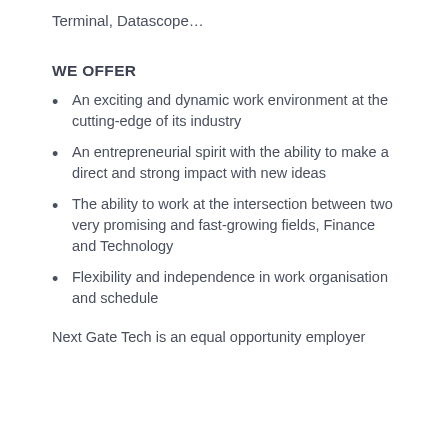Terminal, Datascope…
WE OFFER
An exciting and dynamic work environment at the cutting-edge of its industry
An entrepreneurial spirit with the ability to make a direct and strong impact with new ideas
The ability to work at the intersection between two very promising and fast-growing fields, Finance and Technology
Flexibility and independence in work organisation and schedule
Next Gate Tech is an equal opportunity employer